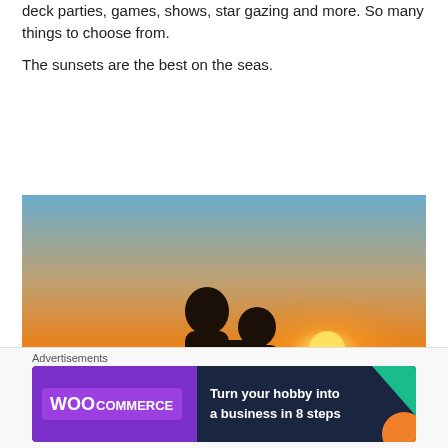deck parties, games, shows, star gazing and more. So many things to choose from.
The sunsets are the best on the seas.
[Figure (photo): Two people silhouetted against a stunning ocean sunset from a cruise ship deck, with warm orange and yellow sky and the sun low on the horizon.]
Advertisements
[Figure (illustration): WooCommerce advertisement banner with purple and dark blue background, teal and orange geometric shapes, WooCommerce logo in white, and text: Turn your hobby into a business in 8 steps]